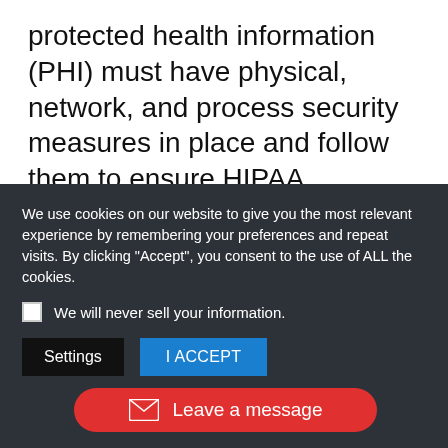protected health information (PHI) must have physical, network, and process security measures in place and follow them to ensure HIPAA Compliance.
We hope these at least got you
We use cookies on our website to give you the most relevant experience by remembering your preferences and repeat visits. By clicking "Accept", you consent to the use of ALL the cookies.
We will never sell your information.
Settings
I ACCEPT
Leave a message